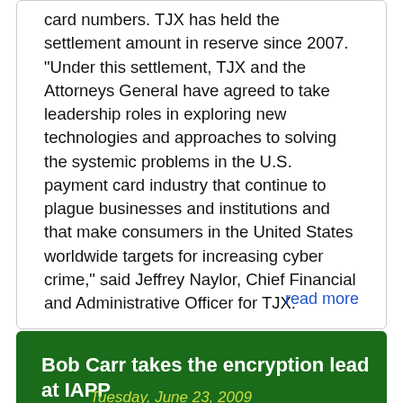card numbers. TJX has held the settlement amount in reserve since 2007. "Under this settlement, TJX and the Attorneys General have agreed to take leadership roles in exploring new technologies and approaches to solving the systemic problems in the U.S. payment card industry that continue to plague businesses and institutions and that make consumers in the United States worldwide targets for increasing cyber crime," said Jeffrey Naylor, Chief Financial and Administrative Officer for TJX.
read more
Bob Carr takes the encryption lead at IAPP
Tuesday, June 23, 2009